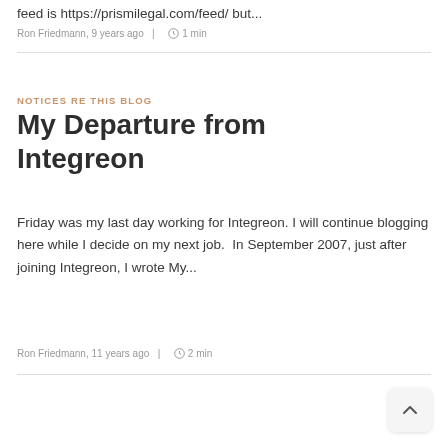feed is https://prismilegal.com/feed/ but...
Ron Friedmann, 9 years ago | 1 min
NOTICES RE THIS BLOG
My Departure from Integreon
Friday was my last day working for Integreon. I will continue blogging here while I decide on my next job.  In September 2007, just after joining Integreon, I wrote My...
Ron Friedmann, 11 years ago | 2 min